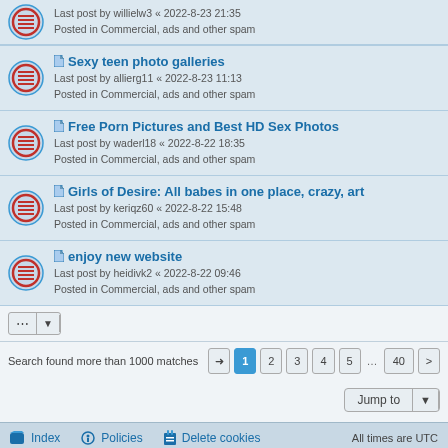Last post by willielw3 « 2022-8-23 21:35
Posted in Commercial, ads and other spam
Sexy teen photo galleries
Last post by allierg11 « 2022-8-23 11:13
Posted in Commercial, ads and other spam
Free Porn Pictures and Best HD Sex Photos
Last post by waderl18 « 2022-8-22 18:35
Posted in Commercial, ads and other spam
Girls of Desire: All babes in one place, crazy, art
Last post by keriqz60 « 2022-8-22 15:48
Posted in Commercial, ads and other spam
enjoy new website
Last post by heidivk2 « 2022-8-22 09:46
Posted in Commercial, ads and other spam
Search found more than 1000 matches
Jump to
Index   Policies   Delete cookies   All times are UTC
[Figure (logo): Public Domain badge with CC-style icon]